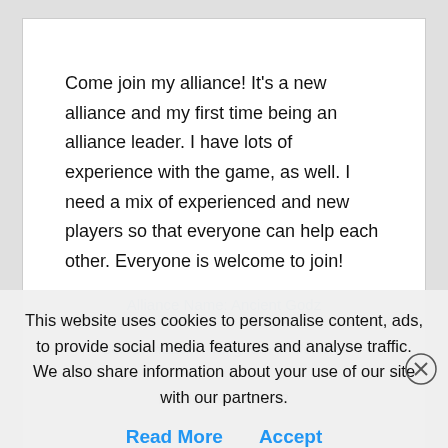Come join my alliance! It's a new alliance and my first time being an alliance leader. I have lots of experience with the game, as well. I need a mix of experienced and new players so that everyone can help each other. Everyone is welcome to join!
Alliance Name: Ancient Godz
Server: #2200 – Kingdom of Correns
Leader: Nexos1122
This website uses cookies to personalise content, ads, to provide social media features and analyse traffic. We also share information about your use of our site with our partners.
Read More   Accept